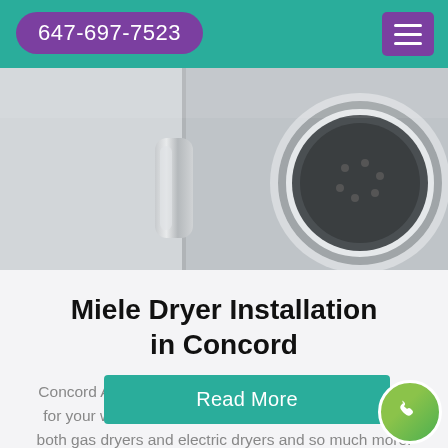647-697-7523
[Figure (photo): Close-up photo of a Miele washing machine door handle, chrome/silver color on light background]
Miele Dryer Installation in Concord
Concord Appliance Repair have professional installers for your washer and dryer installation. We can set up both gas dryers and electric dryers and so much more.
Read More